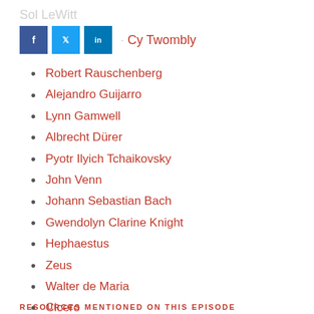Sol LeWitt
[Figure (other): Social sharing buttons: Facebook (f), Twitter (bird icon), LinkedIn (in)]
Cy Twombly
Robert Rauschenberg
Alejandro Guijarro
Lynn Gamwell
Albrecht Dürer
Pyotr Ilyich Tchaikovsky
John Venn
Johann Sebastian Bach
Gwendolyn Clarine Knight
Hephaestus
Zeus
Walter de Maria
Cicero
Charles Pierre Baudelaire
Carl Jung
RESOURCES MENTIONED ON THIS EPISODE